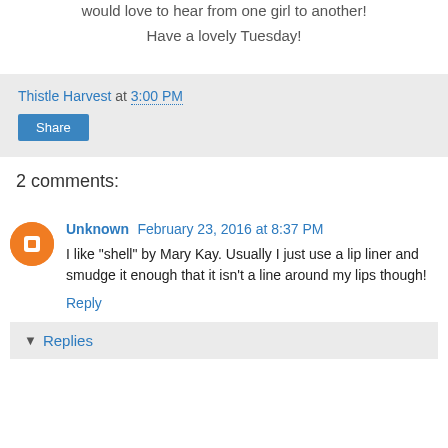would love to hear from one girl to another!
Have a lovely Tuesday!
Thistle Harvest at 3:00 PM
Share
2 comments:
Unknown February 23, 2016 at 8:37 PM
I like "shell" by Mary Kay. Usually I just use a lip liner and smudge it enough that it isn't a line around my lips though!
Reply
Replies